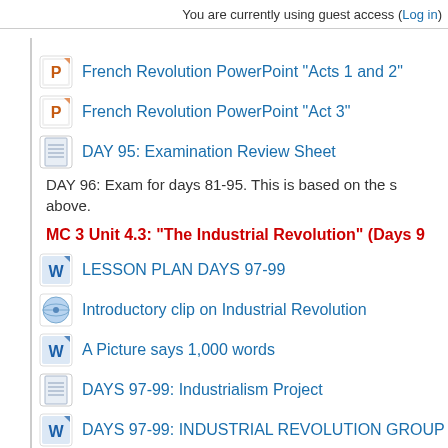You are currently using guest access (Log in)
French Revolution PowerPoint "Acts 1 and 2"
French Revolution PowerPoint "Act 3"
DAY 95: Examination Review Sheet
DAY 96: Exam for days 81-95. This is based on the s above.
MC 3 Unit 4.3: "The Industrial Revolution" (Days 9
LESSON PLAN DAYS 97-99
Introductory clip on Industrial Revolution
A Picture says 1,000 words
DAYS 97-99: Industrialism Project
DAYS 97-99: INDUSTRIAL REVOLUTION GROUP